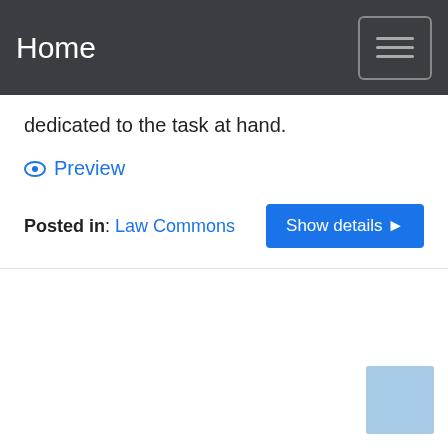Home
dedicated to the task at hand.
Preview
Posted in: Law Commons
Show details